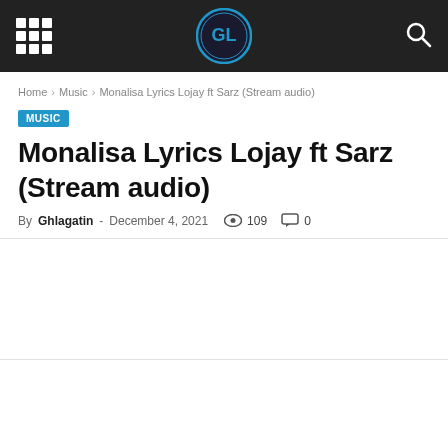Ghlagatin – navigation bar with logo
Home › Music › Monalisa Lyrics Lojay ft Sarz (Stream audio)
MUSIC
Monalisa Lyrics Lojay ft Sarz (Stream audio)
By Ghlagatin - December 4, 2021  109  0